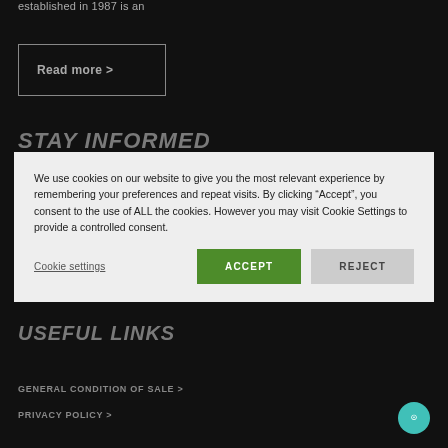established in 1987 is an
Read more >
STAY INFORMED
We use cookies on our website to give you the most relevant experience by remembering your preferences and repeat visits. By clicking “Accept”, you consent to the use of ALL the cookies. However you may visit Cookie Settings to provide a controlled consent.
Cookie settings
ACCEPT
REJECT
USEFUL LINKS
GENERAL CONDITION OF SALE  >
PRIVACY POLICY  >